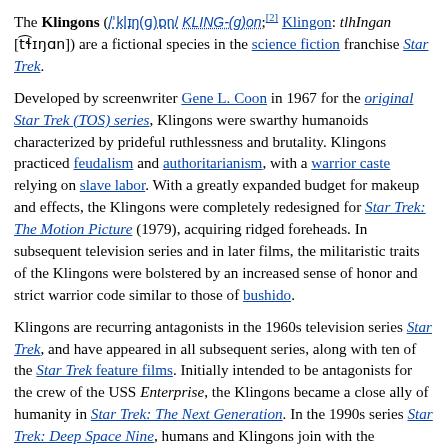The Klingons (/ˈklɪŋ(ɡ)ɒn/ KLING-(g)on;[2] Klingon: tlhIngan [tɬɪŋɑn]) are a fictional species in the science fiction franchise Star Trek.
Developed by screenwriter Gene L. Coon in 1967 for the original Star Trek (TOS) series, Klingons were swarthy humanoids characterized by prideful ruthlessness and brutality. Klingons practiced feudalism and authoritarianism, with a warrior caste relying on slave labor. With a greatly expanded budget for makeup and effects, the Klingons were completely redesigned for Star Trek: The Motion Picture (1979), acquiring ridged foreheads. In subsequent television series and in later films, the militaristic traits of the Klingons were bolstered by an increased sense of honor and strict warrior code similar to those of bushido.
Klingons are recurring antagonists in the 1960s television series Star Trek, and have appeared in all subsequent series, along with ten of the Star Trek feature films. Initially intended to be antagonists for the crew of the USS Enterprise, the Klingons became a close ally of humanity in Star Trek: The Next Generation. In the 1990s series Star Trek: Deep Space Nine, humans and Klingons join with the Romulans to fight the Dominion.